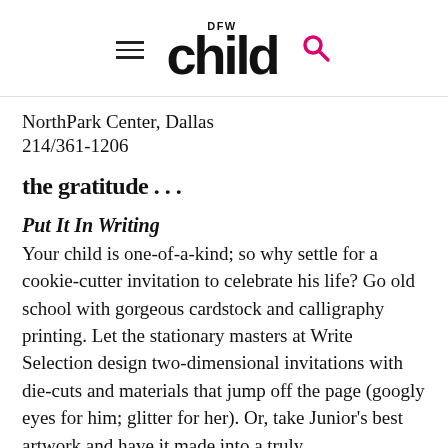DFW Child logo with hamburger menu and search icon
NorthPark Center, Dallas
214/361-1206
the gratitude . . .
Put It In Writing
Your child is one-of-a-kind; so why settle for a cookie-cutter invitation to celebrate his life? Go old school with gorgeous cardstock and calligraphy printing. Let the stationary masters at Write Selection design two-dimensional invitations with die-cuts and materials that jump off the page (googly eyes for him; glitter for her). Or, take Junior's best artwork and have it made into a truly